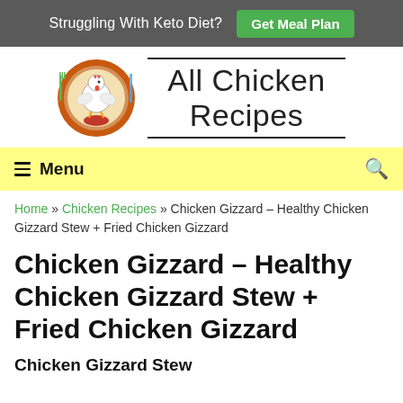Struggling With Keto Diet? Get Meal Plan
[Figure (logo): All Chicken Recipes website logo — circular emblem with a chicken illustration surrounded by fork and knife, next to the text 'All Chicken Recipes']
Menu (navigation bar with search icon)
Home » Chicken Recipes » Chicken Gizzard – Healthy Chicken Gizzard Stew + Fried Chicken Gizzard
Chicken Gizzard – Healthy Chicken Gizzard Stew + Fried Chicken Gizzard
Chicken Gizzard Stew (partial, cut off)